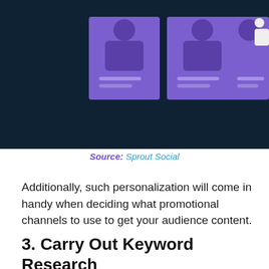[Figure (illustration): Dark navy background illustration showing three person silhouettes (purple/violet) seated at desks with light purple cards/panels in front of them, representing social media profiles or user cards.]
Source: Sprout Social
Additionally, such personalization will come in handy when deciding what promotional channels to use to get your audience content.
3. Carry Out Keyword Research